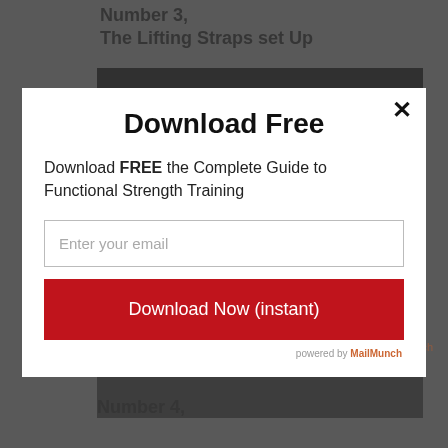Number 3,
The Lifting Straps set Up
[Figure (photo): Dark background image showing gym equipment, partially obscured by modal overlay]
Download Free
Download FREE the Complete Guide to Functional Strength Training
Enter your email
Download Now (instant)
powered by MailMunch
Number 4,